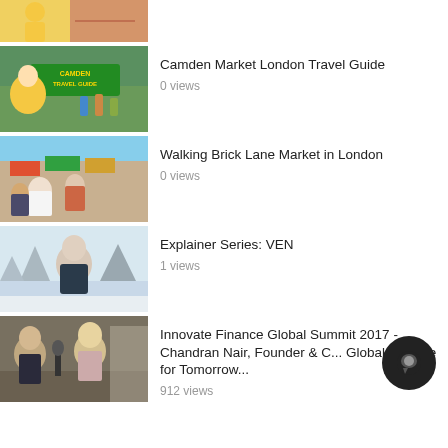[Figure (photo): Partial top thumbnail showing person in yellow jacket on a street, cropped at top]
[Figure (photo): Thumbnail: Camden Market London Travel Guide - man in yellow jacket smiling with Camden Travel Guide sign]
Camden Market London Travel Guide
0 views
[Figure (photo): Thumbnail: Walking Brick Lane Market in London - crowded outdoor market scene]
Walking Brick Lane Market in London
0 views
[Figure (photo): Thumbnail: Explainer Series VEN - man in dark vest against snowy background]
Explainer Series: VEN
1 views
[Figure (photo): Thumbnail: Innovate Finance Global Summit 2017 - people at table with microphones]
Innovate Finance Global Summit 2017 - Chandran Nair, Founder & C... Global Institute for Tomorrow...
912 views